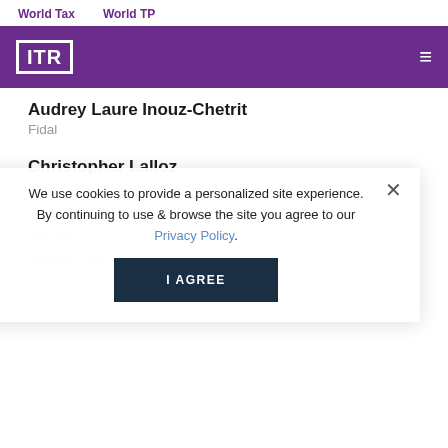World Tax    World TP
[Figure (logo): ITR logo in white on purple header bar with hamburger menu icon]
Audrey Laure Inouz-Chetrit
Fidal
Christopher Lalloz
Mayer Brown
Eric Lesprit
Deloitte
Philippe Lion
We use cookies to provide a personalized site experience. By continuing to use & browse the site you agree to our Privacy Policy.